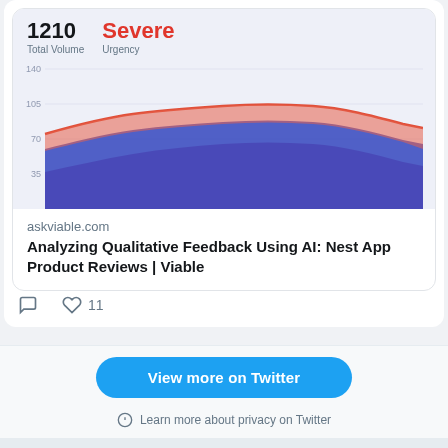[Figure (area-chart): Stacked area chart showing Total Volume (1210) and Urgency: Severe. Purple/magenta lower area, blue middle area, salmon/red upper area. Y-axis labels: 35, 70, 105, 140. Chart background is light lavender.]
askviable.com
Analyzing Qualitative Feedback Using AI: Nest App Product Reviews | Viable
11
View more on Twitter
Learn more about privacy on Twitter